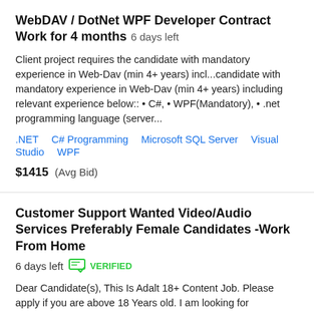WebDAV / DotNet WPF Developer Contract Work for 4 months  6 days left
Client project requires the candidate with mandatory experience in Web-Dav (min 4+ years) incl...candidate with mandatory experience in Web-Dav (min 4+ years) including relevant experience below:: • C#, • WPF(Mandatory), • .net programming language (server...
.NET   C# Programming   Microsoft SQL Server   Visual Studio   WPF
$1415  (Avg Bid)
Customer Support Wanted Video/Audio Services Preferably Female Candidates -Work From Home
6 days left   VERIFIED
Dear Candidate(s), This Is Adalt 18+ Content Job. Please apply if you are above 18 Years old. I am looking for